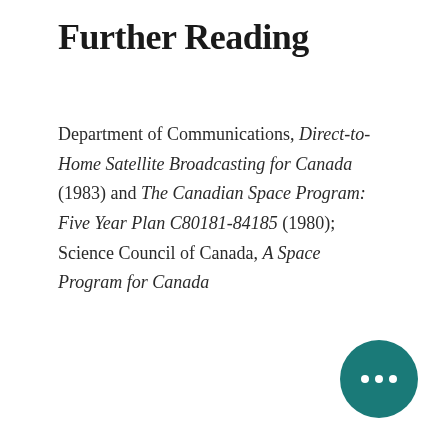Further Reading
Department of Communications, Direct-to-Home Satellite Broadcasting for Canada (1983) and The Canadian Space Program: Five Year Plan C80181-84185 (1980); Science Council of Canada, A Space Program for Canada